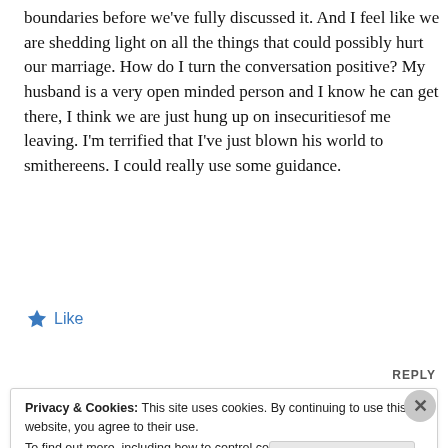boundaries before we've fully discussed it. And I feel like we are shedding light on all the things that could possibly hurt our marriage. How do I turn the conversation positive? My husband is a very open minded person and I know he can get there, I think we are just hung up on insecuritiesof me leaving. I'm terrified that I've just blown his world to smithereens. I could really use some guidance.
★ Like
REPLY
Privacy & Cookies: This site uses cookies. By continuing to use this website, you agree to their use. To find out more, including how to control cookies, see here: Cookie Policy
Close and accept